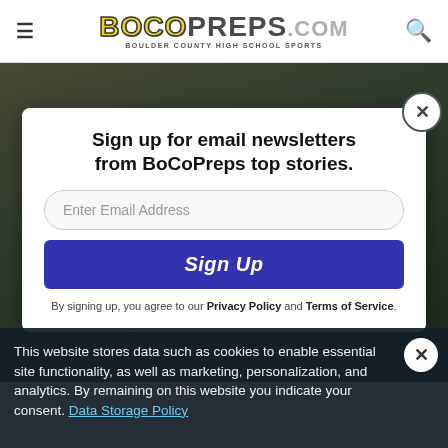BoCoPreps.com — Boulder County High School Sports
[Figure (screenshot): Dark blurred background photo of a person]
Sign up for email newsletters from BoCoPreps top stories.
Enter Email Address (input field)
Sign Up (button)
By signing up, you agree to our Privacy Policy and Terms of Service.
This website stores data such as cookies to enable essential site functionality, as well as marketing, personalization, and analytics. By remaining on this website you indicate your consent. Data Storage Policy